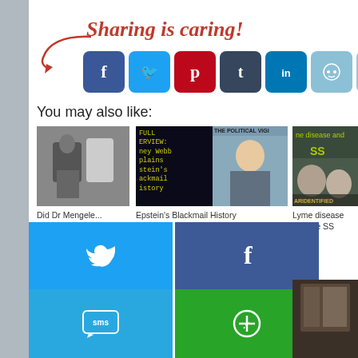[Figure (infographic): Sharing is caring! header with red cursive text and arrow, followed by a row of social media share buttons: Facebook, Twitter, Pinterest, Tumblr, LinkedIn, Reddit, Email, Share]
You may also like:
[Figure (photo): Black and white photo of two people at a work station]
[Figure (screenshot): Screenshot with text FULL INTERVIEW: Tierney Webb Explains Epstein's Blackmail History on dark background with yellow text, alongside a photo of a young woman]
[Figure (photo): Book or magazine cover with text 'the disease and the SS' and faces]
Did Dr Mengele...
Epstein's Blackmail History
Lyme disease and the SS Elbrus
[Figure (infographic): Mobile share overlay with Twitter, Facebook, Email, WhatsApp, SMS, and more buttons]